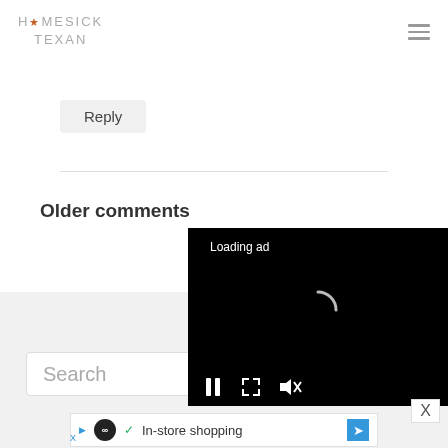HOMESICK TEXAN
Reply
[Figure (screenshot): Loading ad video player overlay with black background, loading spinner, and playback controls (pause, expand, mute)]
Older comments
[Figure (screenshot): Search input box with placeholder text 'Search']
[Figure (screenshot): Advertisement banner with in-store shopping text and navigation arrow icon]